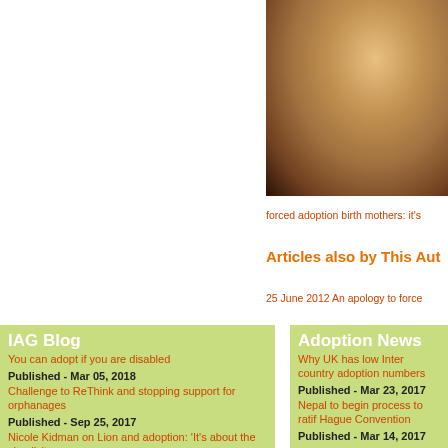[Figure (photo): Close-up photo of a pregnant woman's belly in warm orange/brown tones]
forced adoption birth mothers: it's
Articles also by This Aut
25 June 2012 An apology to force
IAG Blog
You can adopt if you are disabled
Published - Mar 05, 2018
Challenge to ReThink and stopping support for orphanages
Published - Sep 25, 2017
Nicole Kidman on Lion and adoption: 'It's about the simplicity
Adoption News
Why UK has low Inter country adoption numbers
Published - Mar 23, 2017
Nepal to begin process to ratif Hague Convention
Published - Mar 14, 2017